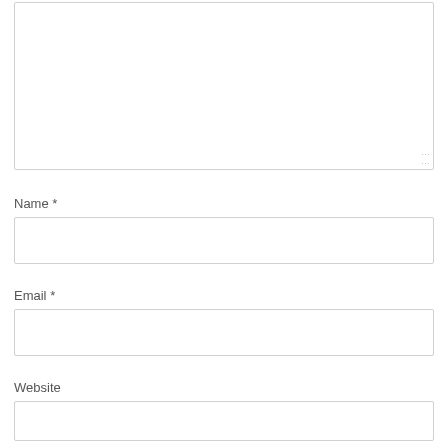[Figure (screenshot): A web comment form showing a large textarea (partially visible at top), followed by labeled input fields: Name * (with text input box), Email * (with text input box), and Website (with text input box, partially visible at bottom). Fields have light gray borders on white background.]
Name *
Email *
Website